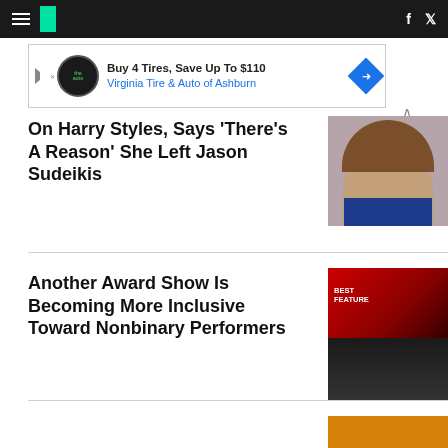HuffPost navigation with hamburger menu, logo, Facebook and Twitter icons
[Figure (screenshot): Advertisement banner: Buy 4 Tires, Save Up To $110 - Virginia Tire & Auto of Ashburn]
On Harry Styles, Says 'There's A Reason' She Left Jason Sudeikis
[Figure (photo): Woman in blue dress with long wavy brown hair]
Another Award Show Is Becoming More Inclusive Toward Nonbinary Performers
[Figure (photo): Award show stage with BEST FEATURE text on screen, crowd in foreground]
[Figure (photo): Partial image on orange background at bottom]